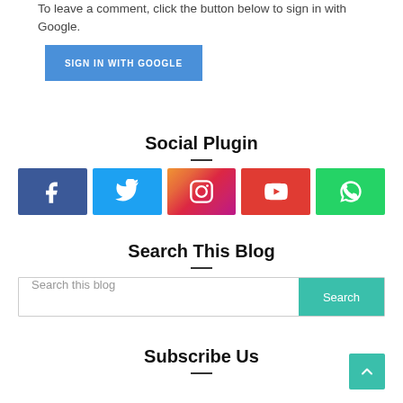To leave a comment, click the button below to sign in with Google.
[Figure (screenshot): Blue 'SIGN IN WITH GOOGLE' button]
Social Plugin
[Figure (infographic): Row of 5 social media icon buttons: Facebook, Twitter, Instagram, YouTube, WhatsApp]
Search This Blog
[Figure (screenshot): Search bar with placeholder 'Search this blog' and a teal 'Search' button]
Subscribe Us
[Figure (screenshot): Teal back-to-top arrow button in bottom right corner]